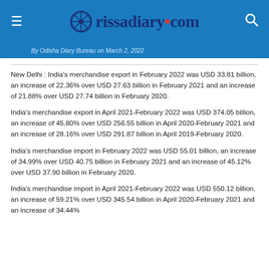rissadiary.com
By Odisha Diary Bureau on March 2, 2022
New Delhi : India's merchandise export in February 2022 was USD 33.81 billion, an increase of 22.36% over USD 27.63 billion in February 2021 and an increase of 21.88% over USD 27.74 billion in February 2020.
India's merchandise export in April 2021-February 2022 was USD 374.05 billion, an increase of 45.80% over USD 256.55 billion in April 2020-February 2021 and an increase of 28.16% over USD 291.87 billion in April 2019-February 2020.
India's merchandise import in February 2022 was USD 55.01 billion, an increase of 34.99% over USD 40.75 billion in February 2021 and an increase of 45.12% over USD 37.90 billion in February 2020.
India's merchandise import in April 2021-February 2022 was USD 550.12 billion, an increase of 59.21% over USD 345.54 billion in April 2020-February 2021 and an increase of 34.44%...